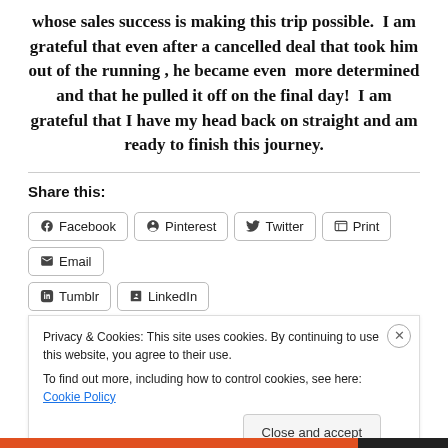whose sales success is making this trip possible.  I am grateful that even after a cancelled deal that took him out of the running , he became even  more determined and that he pulled it off on the final day!  I am grateful that I have my head back on straight and am ready to finish this journey.
Share this:
Facebook  Pinterest  Twitter  Print  Email  Tumblr  LinkedIn
Privacy & Cookies: This site uses cookies. By continuing to use this website, you agree to their use.
To find out more, including how to control cookies, see here: Cookie Policy
Close and accept